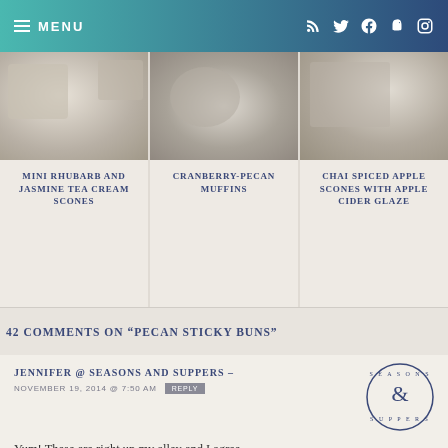MENU
[Figure (photo): Mini Rhubarb and Jasmine Tea Cream Scones food photo]
MINI RHUBARB AND JASMINE TEA CREAM SCONES
[Figure (photo): Cranberry-Pecan Muffins food photo]
CRANBERRY-PECAN MUFFINS
[Figure (photo): Chai Spiced Apple Scones food photo]
CHAI SPICED APPLE SCONES WITH APPLE CIDER GLAZE
42 COMMENTS ON "PECAN STICKY BUNS"
JENNIFER @ SEASONS AND SUPPERS –
NOVEMBER 19, 2014 @ 7:50 AM
Yum! These are right up my alley and I agree, doesn't matter where the recipe came from, but the memories